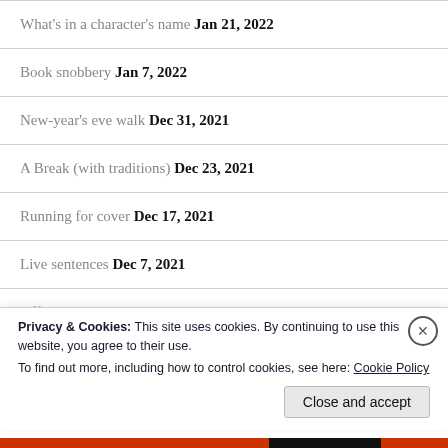What's in a character's name Jan 21, 2022
Book snobbery Jan 7, 2022
New-year's eve walk Dec 31, 2021
A Break (with traditions) Dec 23, 2021
Running for cover Dec 17, 2021
Live sentences Dec 7, 2021
Off the scent Nov 12, 2021
Privacy & Cookies: This site uses cookies. By continuing to use this website, you agree to their use.
To find out more, including how to control cookies, see here: Cookie Policy
Close and accept